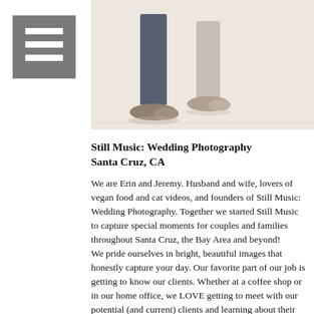[Figure (photo): A cropped photo showing the legs and feet of two people (a couple) standing on a sandy/gravelly surface. The person on the left wears dark jeans and sneakers; the person on the right wears lighter pants and sneakers. A hamburger/menu icon appears in the upper left corner of the image area.]
Still Music: Wedding Photography
Santa Cruz, CA
We are Erin and Jeremy. Husband and wife, lovers of vegan food and cat videos, and founders of Still Music: Wedding Photography. Together we started Still Music to capture special moments for couples and families throughout Santa Cruz, the Bay Area and beyond! We pride ourselves in bright, beautiful images that honestly capture your day. Our favorite part of our job is getting to know our clients. Whether at a coffee shop or in our home office, we LOVE getting to meet with our potential (and current) clients and learning about their story. That personal connection is what inspires us to shoot beautiful photos and makes being in front of the camera a lot less painful for our couples. We aren't